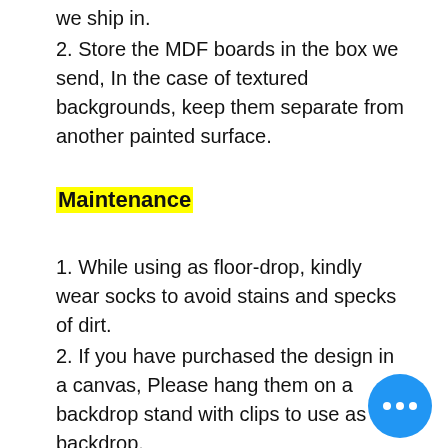we ship in.
2. Store the MDF boards in the box we send, In the case of textured backgrounds, keep them separate from another painted surface.
Maintenance
1. While using as floor-drop, kindly wear socks to avoid stains and specks of dirt.
2. If you have purchased the design in a canvas, Please hang them on a backdrop stand with clips to use as a backdrop.
3. Do not wash or fold them. In case of any stains, wipe them away with a